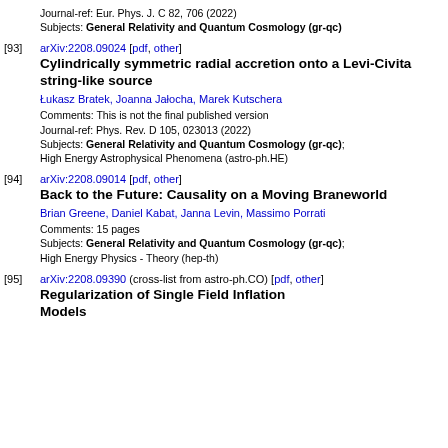Journal-ref: Eur. Phys. J. C 82, 706 (2022)
Subjects: General Relativity and Quantum Cosmology (gr-qc)
[93] arXiv:2208.09024 [pdf, other]
Cylindrically symmetric radial accretion onto a Levi-Civita string-like source
Łukasz Bratek, Joanna Jałocha, Marek Kutschera
Comments: This is not the final published version
Journal-ref: Phys. Rev. D 105, 023013 (2022)
Subjects: General Relativity and Quantum Cosmology (gr-qc); High Energy Astrophysical Phenomena (astro-ph.HE)
[94] arXiv:2208.09014 [pdf, other]
Back to the Future: Causality on a Moving Braneworld
Brian Greene, Daniel Kabat, Janna Levin, Massimo Porrati
Comments: 15 pages
Subjects: General Relativity and Quantum Cosmology (gr-qc); High Energy Physics - Theory (hep-th)
[95] arXiv:2208.09390 (cross-list from astro-ph.CO) [pdf, other]
Regularization of Single Field Inflation Models